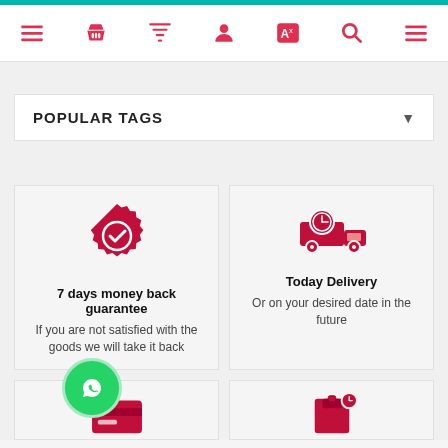[Figure (screenshot): Navigation bar with icons: hamburger menu, basket, filter, user, translate, search, hamburger menu — all in red/crimson on white background with teal top strip]
POPULAR TAGS
[Figure (infographic): 7 days money back guarantee badge icon in crimson]
7 days money back guarantee
If you are not satisfied with the goods we will take it back
[Figure (infographic): Delivery truck with clock icon in crimson]
Today Delivery
Or on your desired date in the future
[Figure (infographic): Bottom left card icon partially visible - card payment icon in crimson]
[Figure (infographic): Bottom right card icon partially visible - package/box icon in crimson]